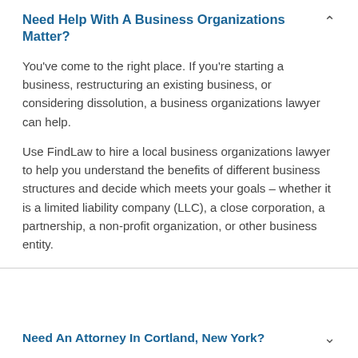Need Help With A Business Organizations Matter?
You've come to the right place. If you're starting a business, restructuring an existing business, or considering dissolution, a business organizations lawyer can help.
Use FindLaw to hire a local business organizations lawyer to help you understand the benefits of different business structures and decide which meets your goals – whether it is a limited liability company (LLC), a close corporation, a partnership, a non-profit organization, or other business entity.
Need An Attorney In Cortland, New York?